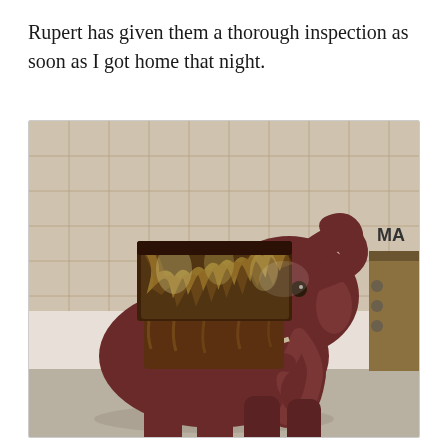Rupert has given them a thorough inspection as soon as I got home that night.
[Figure (photo): A ceramic or pottery elephant figurine with a raised trunk, dark reddish-brown glaze on the body and a mottled brown and cream/yellow glazed rectangular planter or container on its back. The elephant stands on a light gray floor in front of a gridded tile wall. Part of what appears to be an Amazon cardboard box is visible on the right edge.]